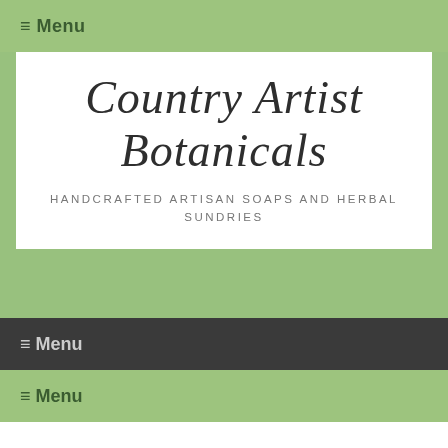≡ Menu
Country Artist Botanicals
HANDCRAFTED ARTISAN SOAPS AND HERBAL SUNDRIES
≡ Menu
≡ Menu
Apothecary
Showing 1–16 of 23 results